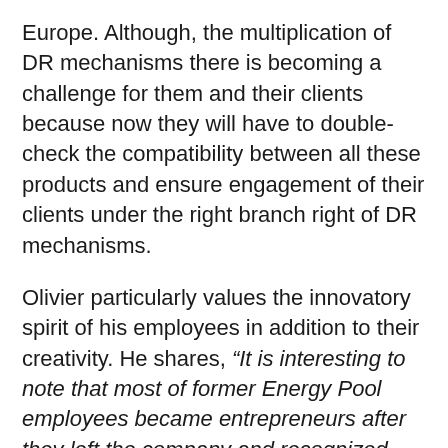Europe. Although, the multiplication of DR mechanisms there is becoming a challenge for them and their clients because now they will have to double-check the compatibility between all these products and ensure engagement of their clients under the right branch right of DR mechanisms.
Olivier particularly values the innovatory spirit of his employees in addition to their creativity. He shares, “It is interesting to note that most of former Energy Pool employees became entrepreneurs after they left the company and recognized that their experience at Energy Pool was particularly inspiring for their new journey. As a recognized strategist, my favorite quote is from Seneca: “If one does not know to which port they are sailing, no wind is